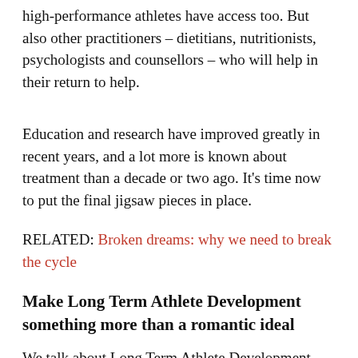high-performance athletes have access too. But also other practitioners – dietitians, nutritionists, psychologists and counsellors – who will help in their return to help.
Education and research have improved greatly in recent years, and a lot more is known about treatment than a decade or two ago. It's time now to put the final jigsaw pieces in place.
RELATED: Broken dreams: why we need to break the cycle
Make Long Term Athlete Development something more than a romantic ideal
We talk about Long Term Athlete Development. We